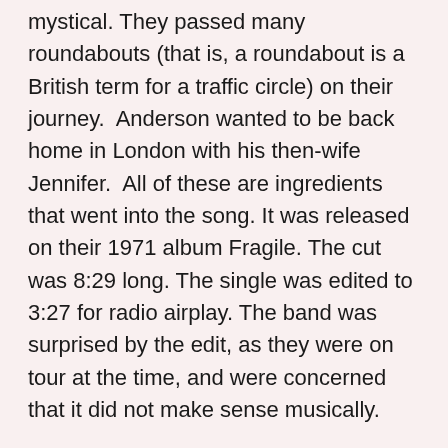mystical. They passed many roundabouts (that is, a roundabout is a British term for a traffic circle) on their journey.  Anderson wanted to be back home in London with his then-wife Jennifer.  All of these are ingredients that went into the song. It was released on their 1971 album Fragile. The cut was 8:29 long. The single was edited to 3:27 for radio airplay. The band was surprised by the edit, as they were on tour at the time, and were concerned that it did not make sense musically.
However, it was released in 1972, backed with “Long Distance Runaround,” and charted successfully for Yes.  In 1972, “Roundabout” went to #13 on the U.S. Billboard Hot 100, #10 on U.S. Cash Box Top 100, #9 in Canada, and #27 in The Netherlands. The band plays the longer version at concerts.
On the track are Jon Anderson (lead vocals), Steve Howe (electric and acoustic guitars, backing vocals), Christ